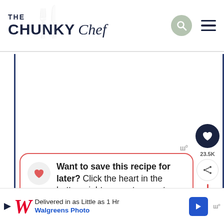THE CHUNKY Chef
[Figure (screenshot): Main content area showing a recipe page with a white background, left and right navy blue borders, a floating heart/save button (dark navy circle with white heart icon) in the upper right showing 23.5K saves, and a share button below it.]
Want to save this recipe for later? Click the heart in the bottom right corner to save to your own recipe box!
[Figure (infographic): WHAT'S NEXT arrow label with thumbnail image of Simple Sheet Pan Roasted... recipe]
[Figure (screenshot): Bottom advertisement banner: Delivered in as Little as 1 Hr / Walgreens Photo, with blue arrow icon and Walgreens W logo]